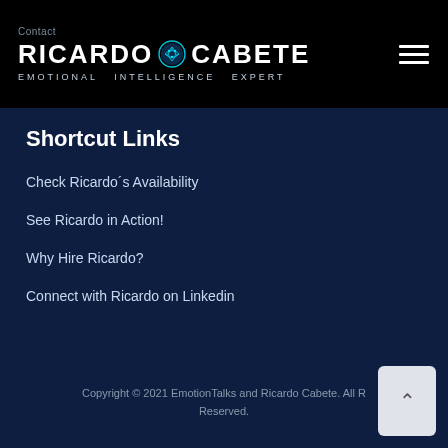Contact RICARDO CABETE EMOTIONAL INTELLIGENCE EXPERT
Shortcut Links
Check Ricardo´s Availability
See Ricardo in Action!
Why Hire Ricardo?
Connect with Ricardo on Linkedin
Copyright © 2021 EmotionTalks and Ricardo Cabete. All Rights Reserved.